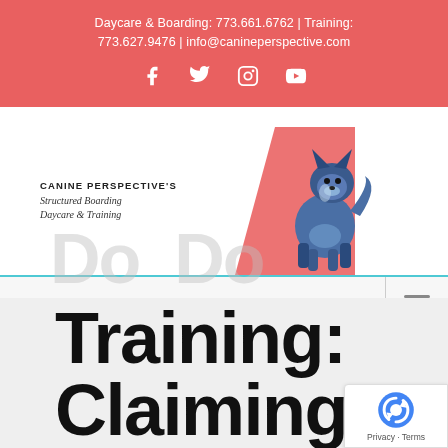Daycare & Boarding: 773.661.6762 | Training: 773.627.9476 | info@canineperspective.com
[Figure (logo): Canine Perspective's logo with illustrated blue Shiba Inu dog, red triangle background, and text 'CANINE PERSPECTIVE'S STRUCTURED BOARDING DAYCARE & TRAINING']
Go to...
Training: Claiming Spac... at the Do...